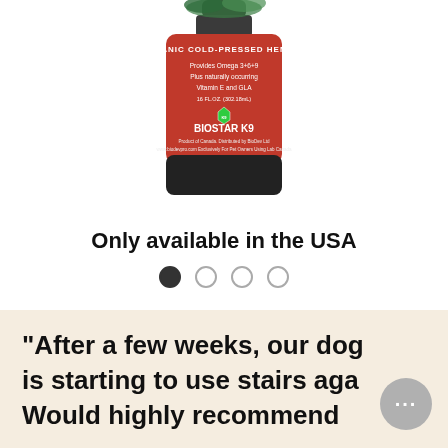[Figure (photo): BioStar K9 Organic Cold-Pressed Hemp oil bottle with red label showing Omega 3+6+9, Vitamin E and GLA information]
Only available in the USA
[Figure (other): Carousel pagination dots: first dot filled/selected, three empty circles]
"After a few weeks, our dog is starting to use stairs aga... Would highly recommend